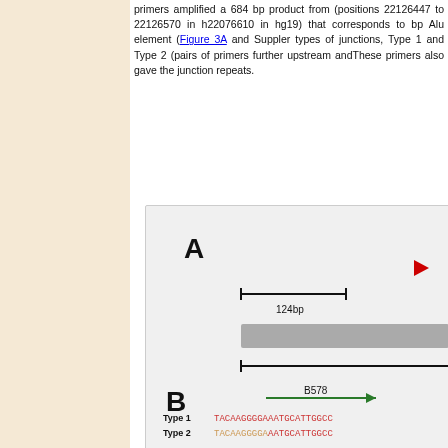primers amplified a 684 bp product from (positions 22126447 to 22126570 in h 22076610 in hg19) that corresponds to bp Alu element (Figure 3A and Suppler types of junctions, Type 1 and Type 2 ( pairs of primers further upstream and These primers also gave the junction repeats.
[Figure (schematic): Panel A: Schematic diagram showing a 124bp scale bar with a red arrow pointing left, a gray horizontal bar representing an Alu element, and a black horizontal line below it. Panel B: Sequence alignment showing B578 primer position with Type 1 and Type 2 junction sequences (TACAAGGGGAAATGCATTGGCC...) in red/salmon color.]